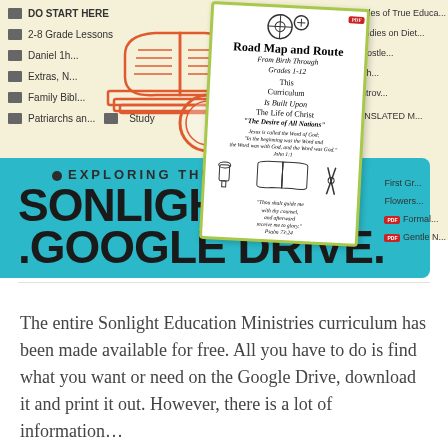[Figure (infographic): Screenshot of Sonlight Google Drive folder listing with a book-and-magnifying-glass illustration overlaid, a 'Road Map and Route' curriculum card, and a teal banner reading 'EXPLORING THE SONLIGHT .GOOGLE DRIVE.' in bold black text]
The entire Sonlight Education Ministries curriculum has been made available for free. All you have to do is find what you want or need on the Google Drive, download it and print it out. However, there is a lot of information…